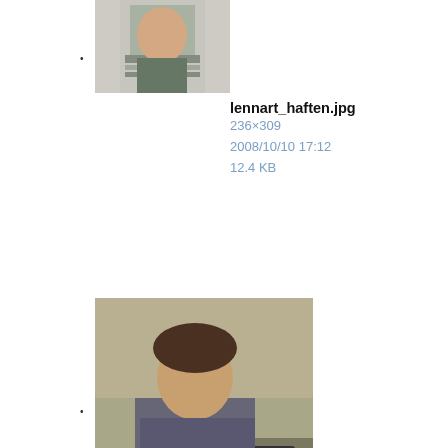lennart_haften.jpg
236×309
2008/10/10 17:12
12.4 KB
lev_yungelson.jpg
313×315
2008/10/10 17:13
27.5 KB
luisa.jpg
292×403
2008/09/12 15:20